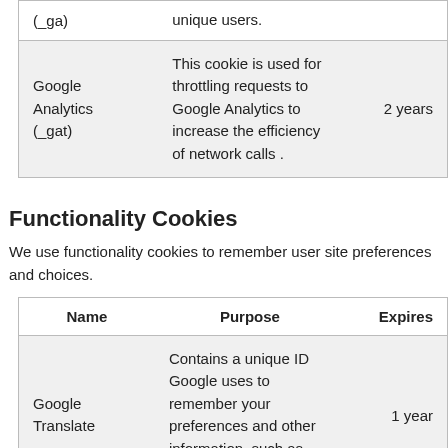| Name | Purpose | Expires |
| --- | --- | --- |
| (_ga) | unique users. |  |
| Google Analytics (_gat) | This cookie is used for throttling requests to Google Analytics to increase the efficiency of network calls . | 2 years |
Functionality Cookies
We use functionality cookies to remember user site preferences and choices.
| Name | Purpose | Expires |
| --- | --- | --- |
| Google Translate | Contains a unique ID Google uses to remember your preferences and other information, such as your preferred | 1 year |